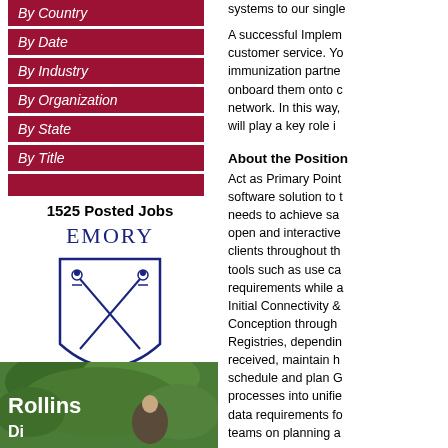By Country
By Date
By Industry
By Organization
By State
By Title
1525 Posted Jobs
[Figure (logo): Emory University shield logo with crossed torches, navy blue on white]
This page is developed and maintained by the Rollins School of Public Health.
[Figure (photo): Rollins school outdoor photo with text overlay reading 'Rollins']
systems to our single
A successful Implem customer service. Yo immunization partne onboard them onto c network. In this way, will play a key role i
About the Position
Act as Primary Point software solution to needs to achieve sa open and interactive clients throughout th tools such as use ca requirements while a Initial Connectivity & Conception through Registries, dependin received, maintain h schedule and plan G processes into unifie data requirements fo teams on planning a
About You
Bachelor's Degree p the field as either a s for requirements...